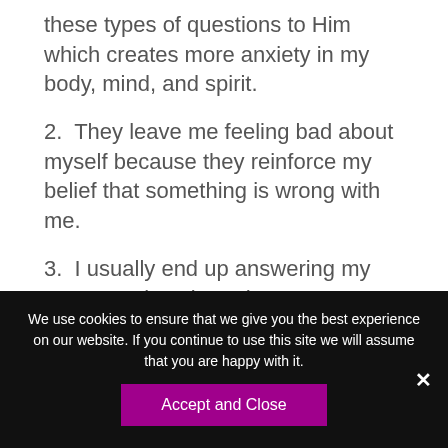these types of questions to Him which creates more anxiety in my body, mind, and spirit.
2.  They leave me feeling bad about myself because they reinforce my belief that something is wrong with me.
3.  I usually end up answering my own questions based on my own logic, which keeps me on the perpetual hamster wheel.
We use cookies to ensure that we give you the best experience on our website. If you continue to use this site we will assume that you are happy with it.
Accept and Close